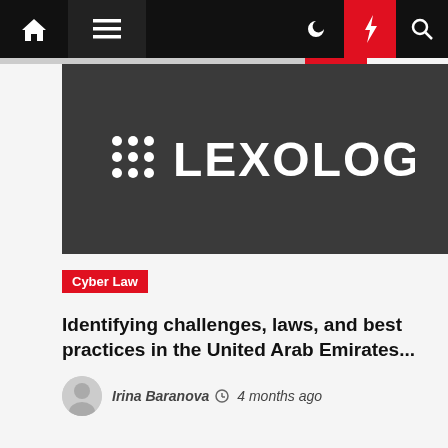Lexology navigation bar with home, menu, dark mode, breaking news, and search icons
[Figure (logo): Lexology logo on dark grey background — white dot-grid icon followed by LEXOLOGY in white uppercase letters]
Cyber Law
Identifying challenges, laws, and best practices in the United Arab Emirates...
Irina Baranova  4 months ago